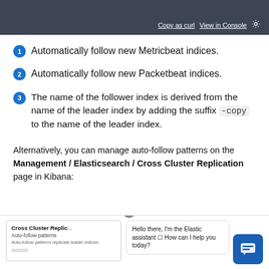[Figure (screenshot): Dark top bar with 'Copy as curl' and 'View in Console' links and a gear icon]
Automatically follow new Metricbeat indices.
Automatically follow new Packetbeat indices.
The name of the follower index is derived from the name of the leader index by adding the suffix -copy to the name of the leader index.
Alternatively, you can manage auto-follow patterns on the Management / Elasticsearch / Cross Cluster Replication page in Kibana:
[Figure (screenshot): Bottom section showing Cross Cluster Replication panel and a chat assistant bubble saying 'Hello there, I'm the Elastic assistant. How can I help you today?']